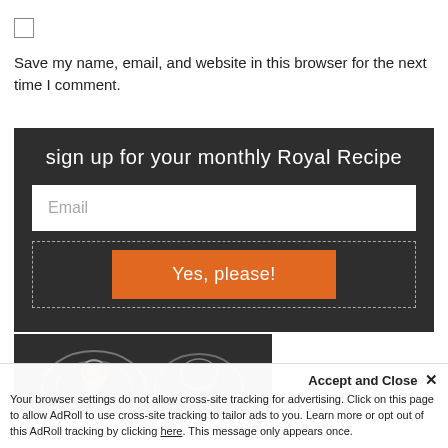[Figure (other): Checkbox (unchecked)]
Save my name, email, and website in this browser for the next time I comment.
[Figure (other): Sign up form with dark background: title 'sign up for your monthly Royal Recipe', email input field, and orange 'Yes, please!' button inside dashed border]
[Figure (other): Partial dark background image at bottom left with decorative illustration]
Accept and Close ✕
Your browser settings do not allow cross-site tracking for advertising. Click on this page to allow AdRoll to use cross-site tracking to tailor ads to you. Learn more or opt out of this AdRoll tracking by clicking here. This message only appears once.